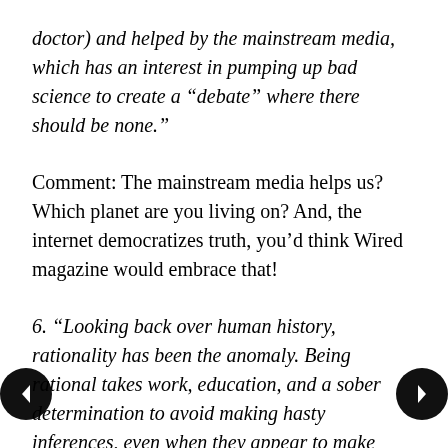doctor) and helped by the mainstream media, which has an interest in pumping up bad science to create a “debate” where there should be none.”
Comment: The mainstream media helps us? Which planet are you living on? And, the internet democratizes truth, you’d think Wired magazine would embrace that!
6. “Looking back over human history, rationality has been the anomaly. Being rational takes work, education, and a sober determination to avoid making hasty inferences, even when they appear to make perfect sense. Much like infectious diseases themselves – beaten back by decades of effort to vaccinate the populace – the irrationality periodically bursts from...